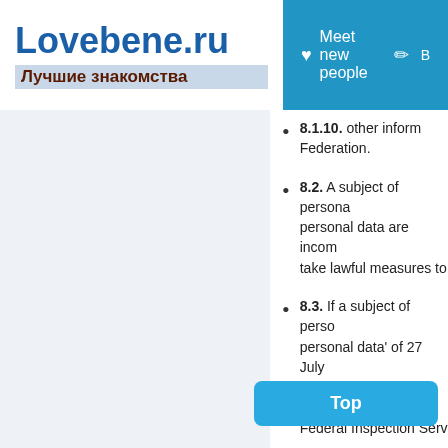Lovebene.ru — Лучшие знакомства | Meet new people
8.1.10. other information provided by the legislation of the Russian Federation.
8.2. A subject of personal data has the right to demand that their personal data are incomplete, inaccurate, the right to demand to take lawful measures to protect it.
8.3. If a subject of personal data considers that Federal law 'On personal data' of 27 July 2006 № 152-FZ is violated, they can complain about the Company's actions or omission to the authorized body — the Federal Inspection Service for Communications and Media.
8.4. A subject of personal data has the right to apply for protection, compensation for moral damages in court.
8.5. Other rights defined by the legislation.
8.6. The Company undertakes to process personal data only when it affects the user's rights and freedom, and obtains the consent